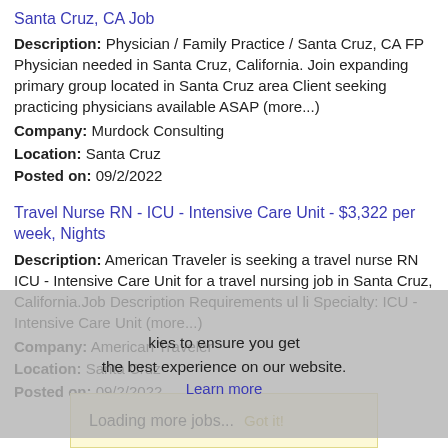Santa Cruz, CA Job
Description: Physician / Family Practice / Santa Cruz, CA FP Physician needed in Santa Cruz, California. Join expanding primary group located in Santa Cruz area Client seeking practicing physicians available ASAP (more...)
Company: Murdock Consulting
Location: Santa Cruz
Posted on: 09/2/2022
Travel Nurse RN - ICU - Intensive Care Unit - $3,322 per week, Nights
Description: American Traveler is seeking a travel nurse RN ICU - Intensive Care Unit for a travel nursing job in Santa Cruz, California.Job Description Requirements ul li Specialty: ICU - Intensive Care Unit (more...)
Company: American Traveler
Location: Santa Cruz
Posted on: 09/2/2022
kies to ensure you get the best experience on our website.
Learn more
Loading more jobs...  Got it!
Log In or Create An Account